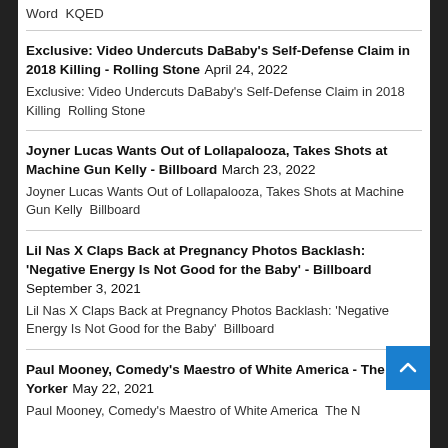Word  KQED
Exclusive: Video Undercuts DaBaby's Self-Defense Claim in 2018 Killing - Rolling Stone  April 24, 2022
Exclusive: Video Undercuts DaBaby's Self-Defense Claim in 2018 Killing  Rolling Stone
Joyner Lucas Wants Out of Lollapalooza, Takes Shots at Machine Gun Kelly - Billboard  March 23, 2022
Joyner Lucas Wants Out of Lollapalooza, Takes Shots at Machine Gun Kelly  Billboard
Lil Nas X Claps Back at Pregnancy Photos Backlash: 'Negative Energy Is Not Good for the Baby' - Billboard  September 3, 2021
Lil Nas X Claps Back at Pregnancy Photos Backlash: 'Negative Energy Is Not Good for the Baby'  Billboard
Paul Mooney, Comedy's Maestro of White America - The New Yorker  May 22, 2021
Paul Mooney, Comedy's Maestro of White America  The N...